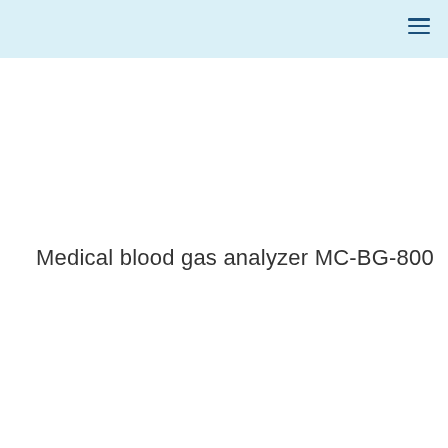Medical blood gas analyzer MC-BG-800